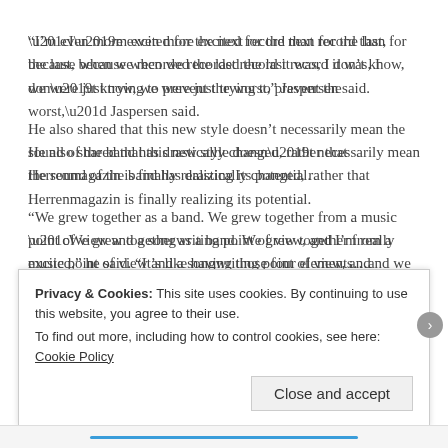“I’m even more excited for the next record than for the last, because when we recorded the last record it was, I don’t know, we were just trying to prevent the worst,” Jaspersen said.
He also shared that this new style doesn’t necessarily mean the sound of the band has drastically changed, rather that Herrenmagazin is finally realizing its potential.
“We grew together as a band. We grew together from a music point of view and a songwriting point of view, and I’m really excited,” he said. “It’s like having those four elements…and we finally are able to mix it…last album we sometimes met, but
Privacy & Cookies: This site uses cookies. By continuing to use this website, you agree to their use.
To find out more, including how to control cookies, see here: Cookie Policy
Close and accept